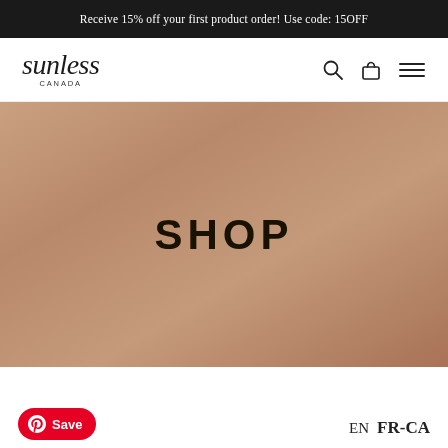Receive 15% off your first product order! Use code: 15OFF
[Figure (logo): Sunless Canada script logo with 'CANADA' below in small caps]
[Figure (infographic): Navigation bar with search icon, shopping bag icon, and hamburger menu icon]
[Figure (illustration): Hero banner with warm bronze/tan gradient background and 'SHOP' text overlay]
SHOP
EN  FR-CA